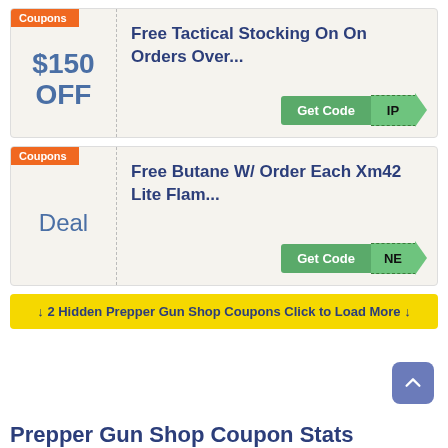[Figure (screenshot): Coupon card 1: $150 OFF - Free Tactical Stocking On On Orders Over... with Get Code button showing 'IP']
[Figure (screenshot): Coupon card 2: Deal - Free Butane W/ Order Each Xm42 Lite Flam... with Get Code button showing 'NE']
↓ 2 Hidden Prepper Gun Shop Coupons Click to Load More ↓
Prepper Gun Shop Coupon Stats